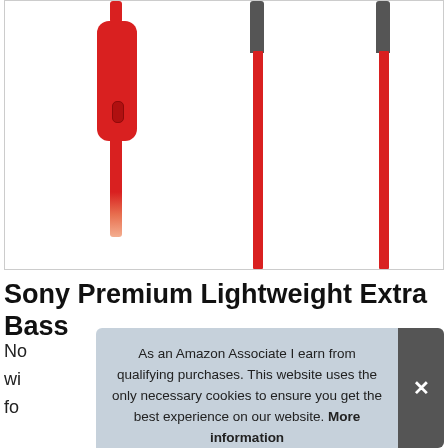[Figure (photo): Product detail photo showing red earphone cables with gray connectors at top. Left side shows a red inline remote control unit with a button. Center and right show two cable strands with gray connectors transitioning to red cables.]
Sony Premium Lightweight Extra Bass
No
wi
fo
As an Amazon Associate I earn from qualifying purchases. This website uses the only necessary cookies to ensure you get the best experience on our website. More information